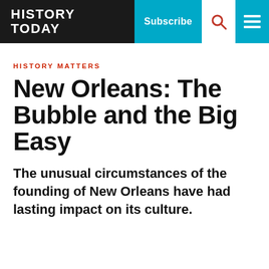HISTORY TODAY | Subscribe | [Search] | [Menu]
HISTORY MATTERS
New Orleans: The Bubble and the Big Easy
The unusual circumstances of the founding of New Orleans have had lasting impact on its culture.